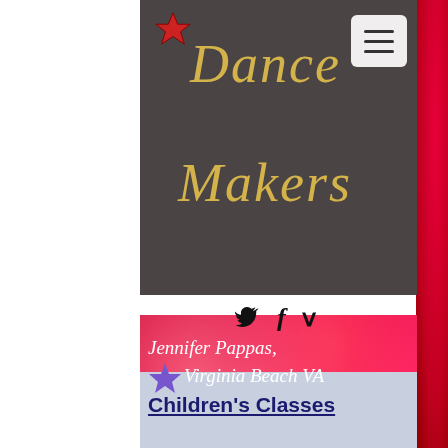[Figure (logo): Dance Makers logo with cursive gold text on dark gray header background, red star top left, hamburger menu button top right]
[Figure (infographic): Red bokeh background with social icons (Twitter bird, Facebook f, Vimeo V) and white cursive text: Jennifer Pappas, Virginia Beach VA with purple star]
Children's Classes